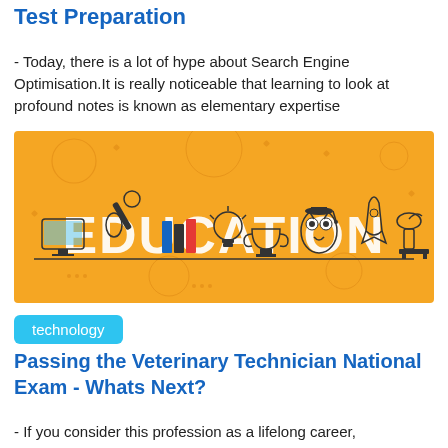Test Preparation
- Today, there is a lot of hype about Search Engine Optimisation.It is really noticeable that learning to look at profound notes is known as elementary expertise
[Figure (illustration): Orange banner illustration with the word EDUCATION in large letters, surrounded by education-themed icons including an owl, rocket, microscope, books, lightbulb, telescope, trophy, ruler, and a monitor — drawn in a flat line art style on an orange background.]
technology
Passing the Veterinary Technician National Exam - Whats Next?
- If you consider this profession as a lifelong career,